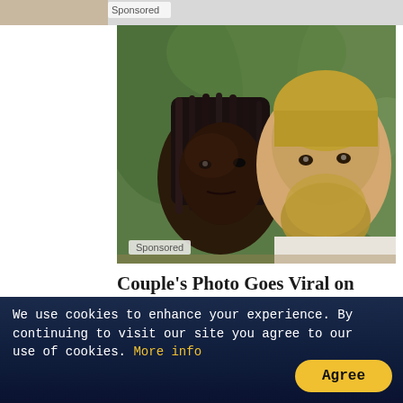[Figure (photo): Sponsored banner at top with a partial photo visible]
[Figure (photo): A selfie photo of a couple — a Black woman with braids and a bearded white man — outdoors with green tropical foliage in the background. A 'Sponsored' badge overlays the bottom-left corner.]
Couple’s Photo Goes Viral on Instagram, Then They Realize Why
Definition
[Figure (photo): Partial strip of another image at the bottom, partially obscured by the cookie consent bar]
We use cookies to enhance your experience. By continuing to visit our site you agree to our use of cookies. More info